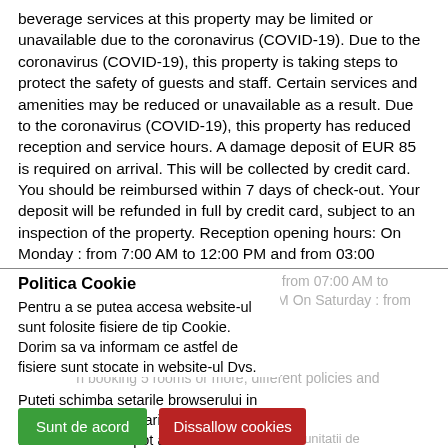beverage services at this property may be limited or unavailable due to the coronavirus (COVID-19). Due to the coronavirus (COVID-19), this property is taking steps to protect the safety of guests and staff. Certain services and amenities may be reduced or unavailable as a result. Due to the coronavirus (COVID-19), this property has reduced reception and service hours. A damage deposit of EUR 85 is required on arrival. This will be collected by credit card. You should be reimbursed within 7 days of check-out. Your deposit will be refunded in full by credit card, subject to an inspection of the property. Reception opening hours: On Monday : from 7:00 AM to 12:00 PM and from 03:00
PM to 09:00 PM From Tuesday to Friday : from 07:00 AM to ... from 03:00 PM to 04:30 AM On Saturday : from ...
Politica Cookie
Pentru a se putea accesa website-ul sunt folosite fisiere de tip Cookie. Dorim sa va informam ce astfel de fisiere sunt stocate in website-ul Dvs.
In booking 5 rooms or more, different policies and additional supplements will apply
Puteti schimba setarile browserului in orice moment. Limitarile in utilizarea fisierelor Cookies pot afecta functionarea corecta a website-ului.
... si fotografiile din pagina cu descrierea unitatii de ... care au caracter strict informativ si sunt preluate de la parteneri ... aceste ... fazele de pe site sunt generice si nu pot fi considerate contractuale, ele reprezinta
Sunt de acord
Dissallow cookies